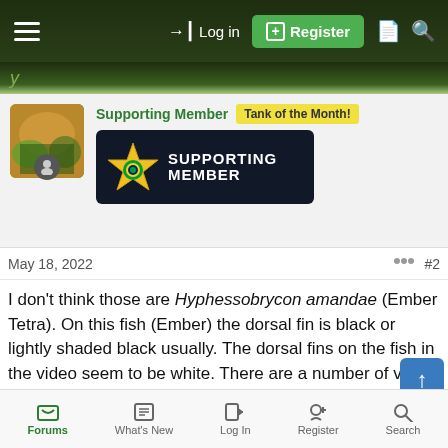Log in | Register
[Figure (screenshot): Supporting Member profile badge with star logo and 'SUPPORTING MEMBER' text on dark background, with Tank of the Month! label]
May 18, 2022  #2
I don't think those are Hyphessobrycon amandae (Ember Tetra). On this fish (Ember) the dorsal fin is black or lightly shaded black usually. The dorsal fins on the fish in the video seem to be white. There are a number of very similar tetras being imported these days, and I won't make a guess as I am not that familiar with them (not available here) but stores usually have the scientific name provided by the distributor
Forums | What's New | Log In | Register | Search